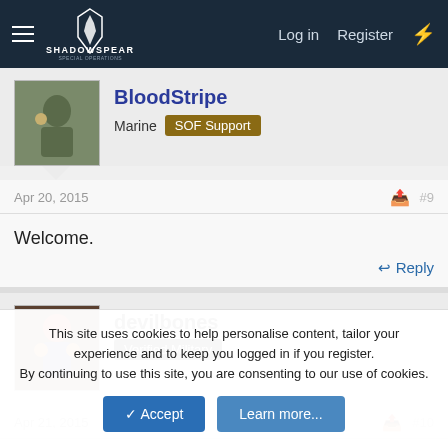ShadowSpear Special Operations — Log in | Register
BloodStripe
Marine  SOF Support
Apr 20, 2015  #9
Welcome.
Reply
devilbones
Verified Military
Apr 21, 2015  #10
This site uses cookies to help personalise content, tailor your experience and to keep you logged in if you register.
By continuing to use this site, you are consenting to our use of cookies.